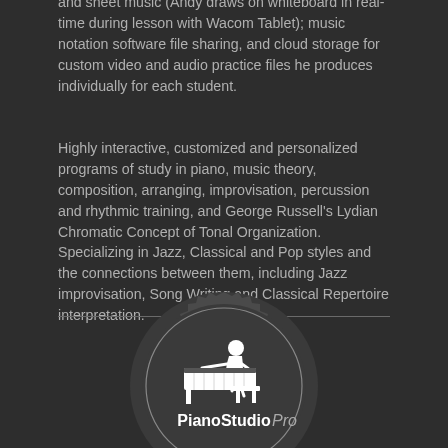and sheet music (Andy draws on whiteboard in real-time during lesson with Wacom Tablet); music notation software file sharing, and cloud storage for custom video and audio practice files he produces individually for each student.
Highly interactive, customized and personalized programs of study in piano, music theory, composition, arranging, improvisation, percussion and rhythmic training, and George Russell's Lydian Chromatic Concept of Tonal Organization. Specializing in Jazz, Classical and Pop styles and the connections between them, including Jazz improvisation, Song Writing and Classical Repertoire interpretation.
[Figure (logo): PianoStudio Pro badge logo — circular badge with gear/notched edge, containing a silhouette of a person playing piano, with text 'PianoStudio Pro' in white and gray]